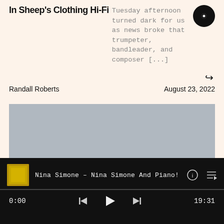In Sheep's Clothing Hi-Fi
Tuesday afternoon turned dark for us as news broke that trumpeter, bandleader, and composer [...]
↳
Randall Roberts
August 23, 2022
[Figure (photo): Gray placeholder image area for article photo]
Nina Simone – Nina Simone And Piano!
0:00
19:31